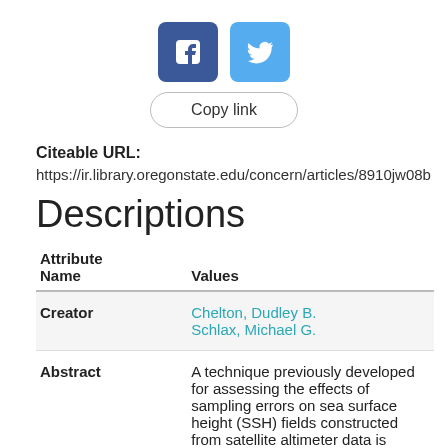[Figure (other): Facebook and Twitter social sharing buttons]
Copy link
Citeable URL:
https://ir.library.oregonstate.edu/concern/articles/8910jw08b
Descriptions
| Attribute Name | Values |
| --- | --- |
| Creator | Chelton, Dudley B.
Schlax, Michael G. |
| Abstract | A technique previously developed for assessing the effects of sampling errors on sea surface height (SSH) fields constructed from satellite altimeter data is extended to include |